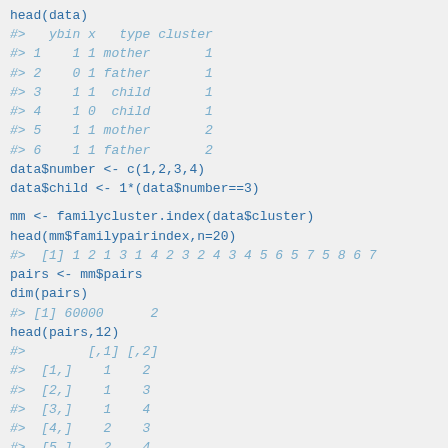head(data)
#>   ybin x   type cluster
#> 1    1 1 mother       1
#> 2    0 1 father       1
#> 3    1 1  child       1
#> 4    1 0  child       1
#> 5    1 1 mother       2
#> 6    1 1 father       2
data$number <- c(1,2,3,4)
data$child <- 1*(data$number==3)
mm <- familycluster.index(data$cluster)
head(mm$familypairindex,n=20)
#>  [1] 1 2 1 3 1 4 2 3 2 4 3 4 5 6 5 7 5 8 6 7
pairs <- mm$pairs
dim(pairs)
#> [1] 60000      2
head(pairs,12)
#>        [,1] [,2]
#>  [1,]    1    2
#>  [2,]    1    3
#>  [3,]    1    4
#>  [4,]    2    3
#>  [5,]    2    4